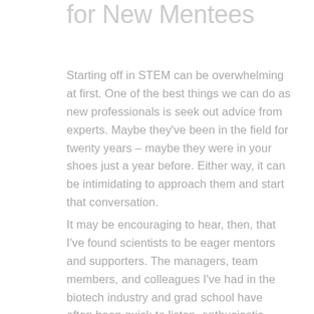for New Mentees
Starting off in STEM can be overwhelming at first. One of the best things we can do as new professionals is seek out advice from experts. Maybe they've been in the field for twenty years – maybe they were in your shoes just a year before. Either way, it can be intimidating to approach them and start that conversation.
It may be encouraging to hear, then, that I've found scientists to be eager mentors and supporters. The managers, team members, and colleagues I've had in the biotech industry and grad school have often been quick to listen, enthusiastic